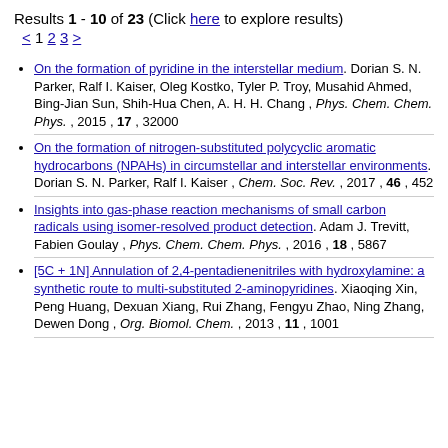Results 1 - 10 of 23 (Click here to explore results)
< 1 2 3 >
On the formation of pyridine in the interstellar medium. Dorian S. N. Parker, Ralf I. Kaiser, Oleg Kostko, Tyler P. Troy, Musahid Ahmed, Bing-Jian Sun, Shih-Hua Chen, A. H. H. Chang , Phys. Chem. Chem. Phys. , 2015 , 17 , 32000
On the formation of nitrogen-substituted polycyclic aromatic hydrocarbons (NPAHs) in circumstellar and interstellar environments. Dorian S. N. Parker, Ralf I. Kaiser , Chem. Soc. Rev. , 2017 , 46 , 452
Insights into gas-phase reaction mechanisms of small carbon radicals using isomer-resolved product detection. Adam J. Trevitt, Fabien Goulay , Phys. Chem. Chem. Phys. , 2016 , 18 , 5867
[5C + 1N] Annulation of 2,4-pentadienenitriles with hydroxylamine: a synthetic route to multi-substituted 2-aminopyridines. Xiaoqing Xin, Peng Huang, Dexuan Xiang, Rui Zhang, Fengyu Zhao, Ning Zhang, Dewen Dong , Org. Biomol. Chem. , 2013 , 11 , 1001